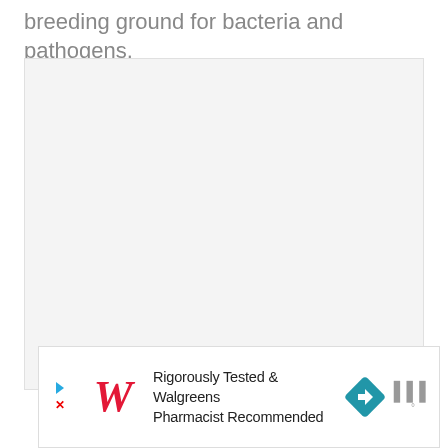breeding ground for bacteria and pathogens.
[Figure (photo): Empty light gray image placeholder area]
[Figure (other): Walgreens advertisement banner: Rigorously Tested & Walgreens Pharmacist Recommended]